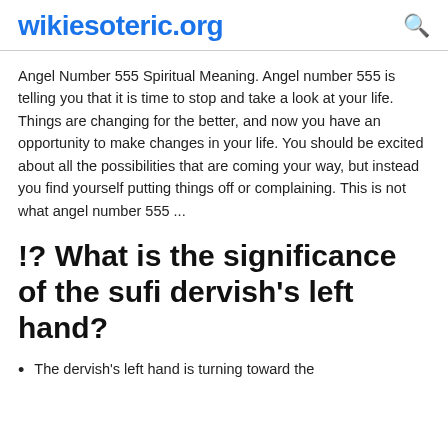wikiesoteric.org
Angel Number 555 Spiritual Meaning. Angel number 555 is telling you that it is time to stop and take a look at your life. Things are changing for the better, and now you have an opportunity to make changes in your life. You should be excited about all the possibilities that are coming your way, but instead you find yourself putting things off or complaining. This is not what angel number 555 ...
!? What is the significance of the sufi dervish's left hand?
The dervish's left hand is turning toward the